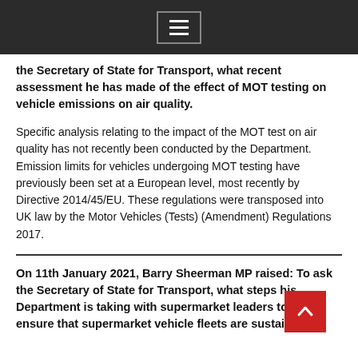Menu icon / navigation bar
the Secretary of State for Transport, what recent assessment he has made of the effect of MOT testing on vehicle emissions on air quality.
Specific analysis relating to the impact of the MOT test on air quality has not recently been conducted by the Department. Emission limits for vehicles undergoing MOT testing have previously been set at a European level, most recently by Directive 2014/45/EU. These regulations were transposed into UK law by the Motor Vehicles (Tests) (Amendment) Regulations 2017.
On 11th January 2021, Barry Sheerman MP raised: To ask the Secretary of State for Transport, what steps his Department is taking with supermarket leaders to help ensure that supermarket vehicle fleets are sustainable.